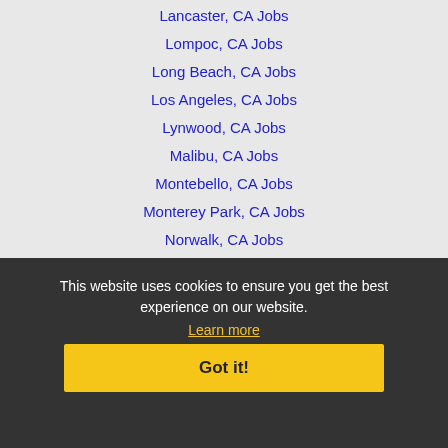Lancaster, CA Jobs
Lompoc, CA Jobs
Long Beach, CA Jobs
Los Angeles, CA Jobs
Lynwood, CA Jobs
Malibu, CA Jobs
Montebello, CA Jobs
Monterey Park, CA Jobs
Norwalk, CA Jobs
Oxnard, CA Jobs
Palmdale, CA Jobs
Paramount, CA Jobs
Pasadena, CA Jobs
Pico Rivera, CA Jobs
Rancho Palos Verdes, CA Jobs
Redondo Beach, CA Jobs
Rosemead, CA Jobs
San Gabriel, CA Jobs
This website uses cookies to ensure you get the best experience on our website.
Learn more
Got it!